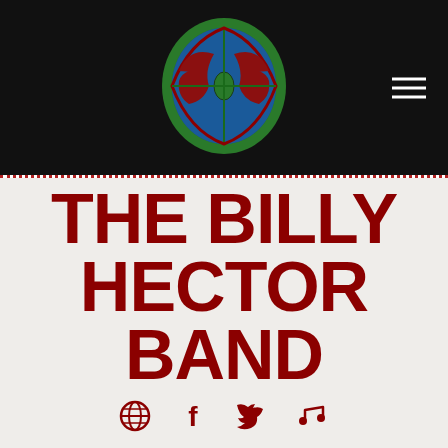[Figure (logo): Oval logo with green border, blue and red decorative design in the center, resembling a stylized JP or band emblem]
THE BILLY HECTOR BAND
[Figure (infographic): Row of four social media icons in dark red: globe/website, Facebook f, Twitter bird, music note]
Whether Billy Hector is teasing you with his sultry slidework, picking through delta blues or flat-out cranking it up and crunching out the electric blues/rock on